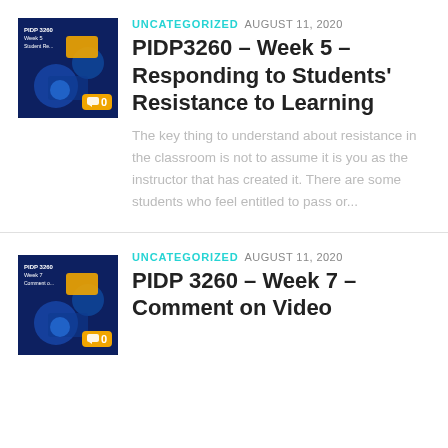[Figure (screenshot): Thumbnail image for PIDP 3260 Week 5 Student Resistance blog post, showing a dark blue and gold graphic with a comment badge overlay showing 0 comments]
UNCATEGORIZED AUGUST 11, 2020
PIDP3260 – Week 5 – Responding to Students' Resistance to Learning
The key thing to understand about resistance in the classroom is not to assume it is you as the instructor that has created it. There are some students who feel entitled to pass or...
[Figure (screenshot): Thumbnail image for PIDP 3260 Week 7 Comment on Video blog post, showing a dark blue and gold graphic with a comment badge overlay showing 0 comments]
UNCATEGORIZED AUGUST 11, 2020
PIDP 3260 – Week 7 – Comment on Video